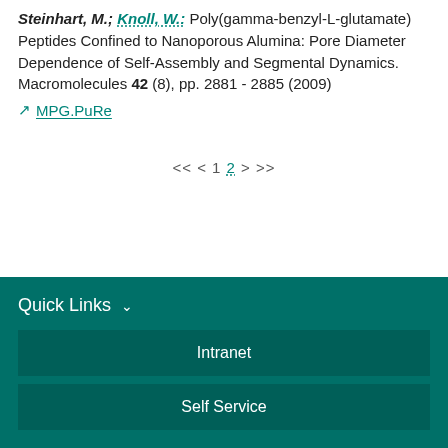Steinhart, M.; Knoll, W.: Poly(gamma-benzyl-L-glutamate) Peptides Confined to Nanoporous Alumina: Pore Diameter Dependence of Self-Assembly and Segmental Dynamics. Macromolecules 42 (8), pp. 2881 - 2885 (2009)
MPG.PuRe
<< < 1 2 > >>
Quick Links
Intranet
Self Service